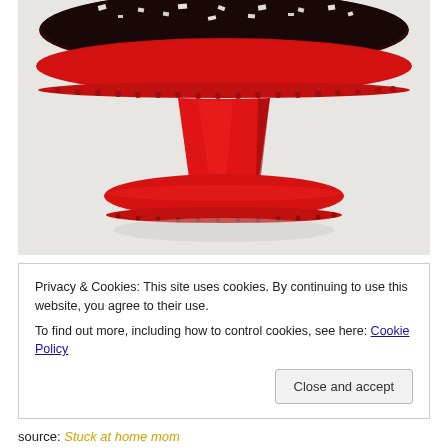[Figure (photo): A dark chocolate cake decorated with crushed Oreo cookies and white chocolate pieces, displayed on a bright red ceramic cake stand with scalloped edges and beaded trim, against a light gray background.]
Privacy & Cookies: This site uses cookies. By continuing to use this website, you agree to their use.
To find out more, including how to control cookies, see here: Cookie Policy
Close and accept
source: Stuck at home mom